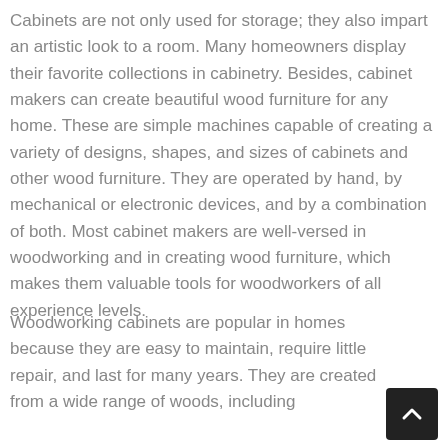Cabinets are not only used for storage; they also impart an artistic look to a room. Many homeowners display their favorite collections in cabinetry. Besides, cabinet makers can create beautiful wood furniture for any home. These are simple machines capable of creating a variety of designs, shapes, and sizes of cabinets and other wood furniture. They are operated by hand, by mechanical or electronic devices, and by a combination of both. Most cabinet makers are well-versed in woodworking and in creating wood furniture, which makes them valuable tools for woodworkers of all experience levels.
Woodworking cabinets are popular in homes because they are easy to maintain, require little repair, and last for many years. They are created from a wide range of woods, including